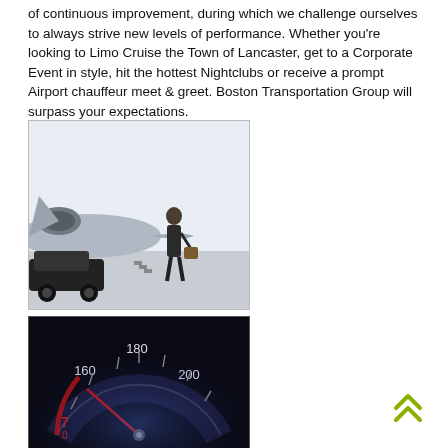of continuous improvement, during which we challenge ourselves to always strive new levels of performance. Whether you're looking to Limo Cruise the Town of Lancaster, get to a Corporate Event in style, hit the hottest Nightclubs or receive a prompt Airport chauffeur meet & greet. Boston Transportation Group will surpass your expectations.
[Figure (photo): A businessman in a suit carrying a bag walking near a private jet on a tarmac, with a luxury car visible in the foreground.]
[Figure (photo): Close-up of a car speedometer dial showing 160, 180, 200 mph markings, lit in dark blue/purple tones with a red indicator needle.]